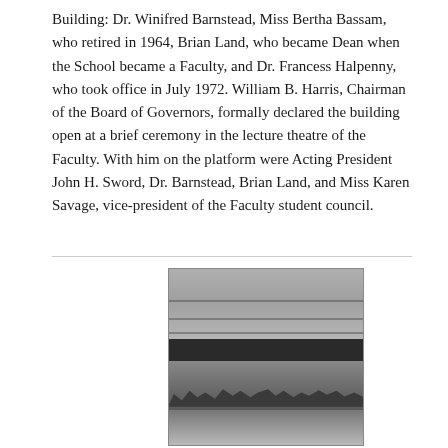Building: Dr. Winifred Barnstead, Miss Bertha Bassam, who retired in 1964, Brian Land, who became Dean when the School became a Faculty, and Dr. Francess Halpenny, who took office in July 1972. William B. Harris, Chairman of the Board of Governors, formally declared the building open at a brief ceremony in the lecture theatre of the Faculty. With him on the platform were Acting President John H. Sword, Dr. Barnstead, Brian Land, and Miss Karen Savage, vice-president of the Faculty student council.
[Figure (photo): Black and white photograph of a building exterior with a crowd of people gathered in front and a car visible in the foreground.]